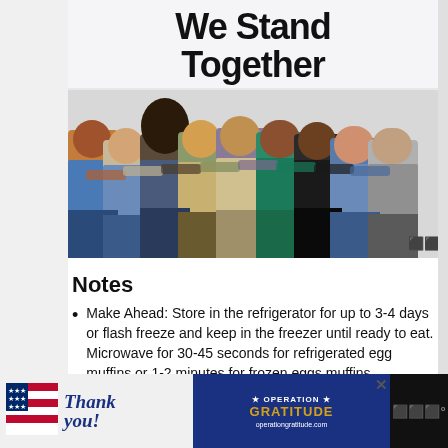[Figure (photo): Photo of a diverse group of people standing with arms around each other, viewed from behind, against a light gray wall with bold text 'We Stand Together' above them.]
Notes
Make Ahead: Store in the refrigerator for up to 3-4 days or flash freeze and keep in the freezer until ready to eat. Microwave for 30-45 seconds for refrigerated egg muffins or 1-2 minutes for frozen eggs muffins.
To make this recipe dairy-free, use a dairy-free milk alternative. Make sure you use
[Figure (photo): Advertisement banner: Thank you message with American flag imagery on the left, and Operation Gratitude logo on the right against a dark blue background.]